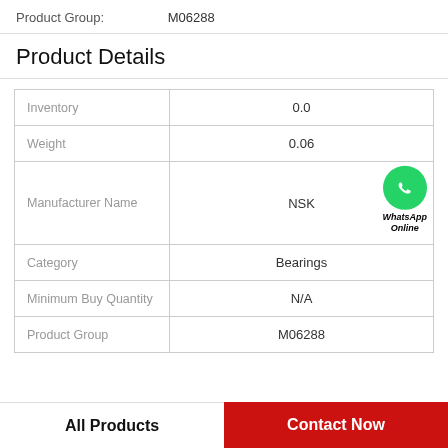Product Group: M06288
Product Details
|  |  |
| --- | --- |
| Inventory | 0.0 |
| Weight | 0.06 |
| Manufacturer Name | NSK |
| Category | Bearings |
| Minimum Buy Quantity | N/A |
| Product Group | M06288 |
All Products | Contact Now